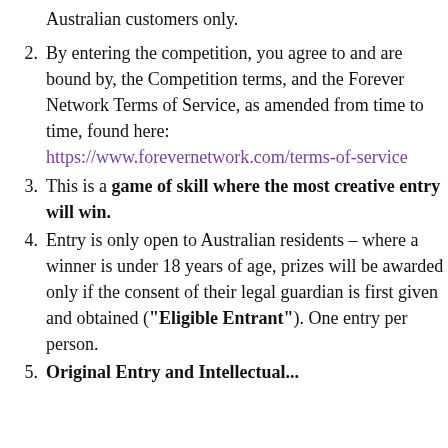Australian customers only.
By entering the competition, you agree to and are bound by, the Competition terms, and the Forever Network Terms of Service, as amended from time to time, found here: https://www.forevernetwork.com/terms-of-service
This is a game of skill where the most creative entry will win.
Entry is only open to Australian residents – where a winner is under 18 years of age, prizes will be awarded only if the consent of their legal guardian is first given and obtained ("Eligible Entrant"). One entry per person.
Original Entry and Intellectual...